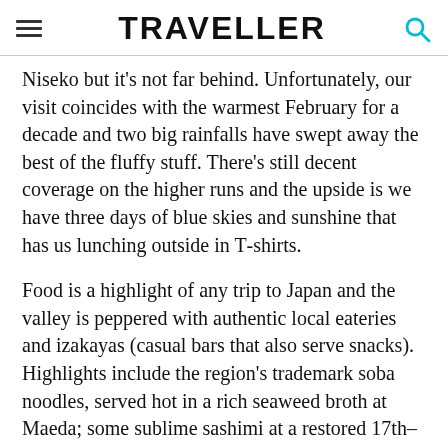TRAVELLER
Niseko but it's not far behind. Unfortunately, our visit coincides with the warmest February for a decade and two big rainfalls have swept away the best of the fluffy stuff. There's still decent coverage on the higher runs and the upside is we have three days of blue skies and sunshine that has us lunching outside in T-shirts.
Food is a highlight of any trip to Japan and the valley is peppered with authentic local eateries and izakayas (casual bars that also serve snacks). Highlights include the region's trademark soba noodles, served hot in a rich seaweed broth at Maeda; some sublime sashimi at a restored 17th–
SHARE